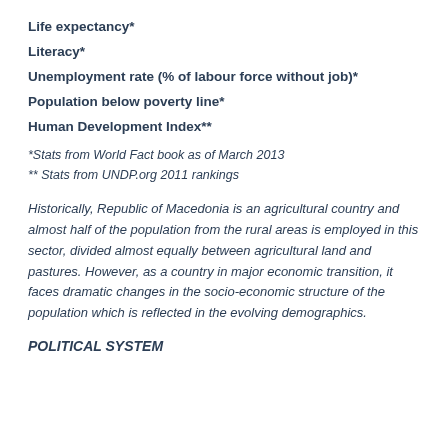Life expectancy*
Literacy*
Unemployment rate (% of labour force without job)*
Population below poverty line*
Human Development Index**
*Stats from World Fact book as of March 2013
** Stats from UNDP.org 2011 rankings
Historically, Republic of Macedonia is an agricultural country and almost half of the population from the rural areas is employed in this sector, divided almost equally between agricultural land and pastures. However, as a country in major economic transition, it faces dramatic changes in the socio-economic structure of the population which is reflected in the evolving demographics.
POLITICAL SYSTEM